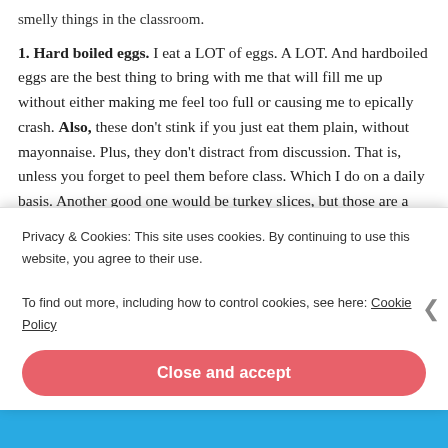smelly things in the classroom.
1. Hard boiled eggs.  I eat a LOT of eggs.  A LOT.  And hardboiled eggs are the best thing to bring with me that will fill me up without either making me feel too full or causing me to epically crash.  Also, these don't stink if you just eat them plain, without mayonnaise.  Plus, they don't distract from discussion.  That is, unless you forget to peel them before class.  Which I do on a daily basis.  Another good one would be turkey slices, but those are a little less convenient.  Plus, my school sells hardboiled eggs with salt and pepper packets, and there is something so delicious about simple
Privacy & Cookies: This site uses cookies. By continuing to use this website, you agree to their use.
To find out more, including how to control cookies, see here: Cookie Policy
Close and accept